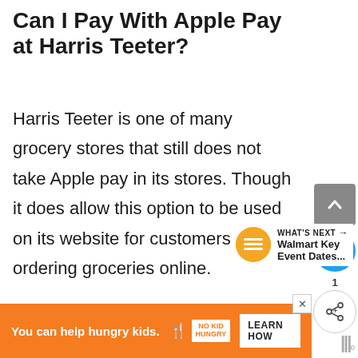Can I Pay With Apple Pay at Harris Teeter?
Harris Teeter is one of many grocery stores that still does not take Apple pay in its stores. Though it does allow this option to be used on its website for customers ordering groceries online.
[Figure (infographic): UI widget showing scroll-up button (grey square with caret), heart/like button (blue circle), share count '1', and share button (white circle with share icon)]
[Figure (infographic): What's Next widget showing orange circular thumbnail and text: 'WHAT'S NEXT → Walmart Key Event Dates...']
[Figure (infographic): Orange advertisement banner: 'You can help hungry kids.' with No Kid Hungry logo and 'LEARN HOW' button. Close X button at top right of banner.]